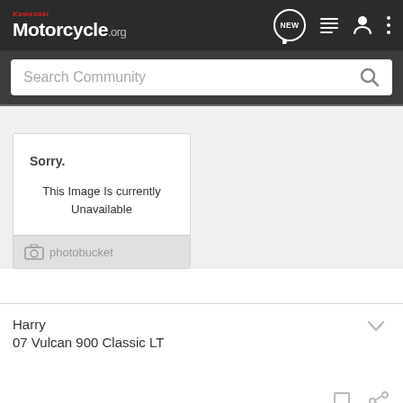Kawasaki Motorcycle.org
Search Community
[Figure (screenshot): Photobucket image placeholder showing 'Sorry. This Image Is currently Unavailable' with Photobucket logo at bottom]
Harry
07 Vulcan 900 Classic LT